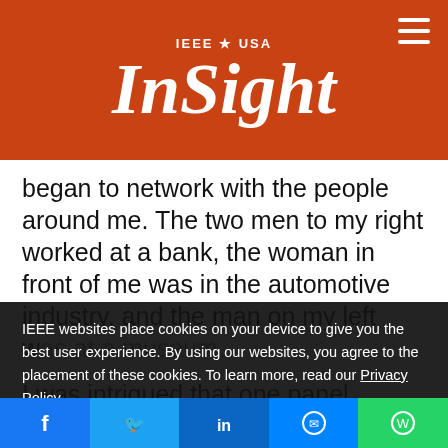IEEE★USA InSight
began to network with the people around me. The two men to my right worked at a bank, the woman in front of me was in the automotive industry, and the man on my left w...
I was intrigued that one panel discussion could be applicable to so many different job functions and industries. I started wondering how the other attendees planned on using computer vision technology in their varied
IEEE websites place cookies on your device to give you the best user experience. By using our websites, you agree to the placement of these cookies. To learn more, read our Privacy Policy.
Accept & Close
Social share: Facebook, Twitter, LinkedIn, Messenger, WhatsApp